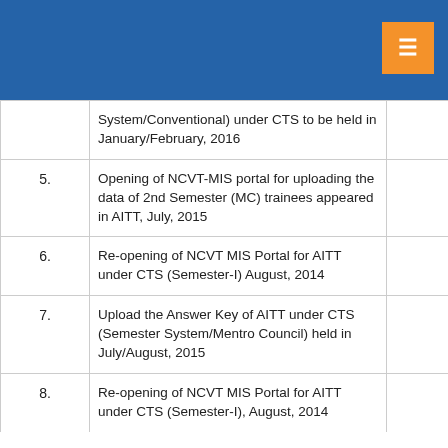|  | Description |  |
| --- | --- | --- |
|  | System/Conventional) under CTS to be held in January/February, 2016 |  |
| 5. | Opening of NCVT-MIS portal for uploading the data of 2nd Semester (MC) trainees appeared in AITT, July, 2015 |  |
| 6. | Re-opening of NCVT MIS Portal for AITT under CTS (Semester-I) August, 2014 |  |
| 7. | Upload the Answer Key of AITT under CTS (Semester System/Mentro Council) held in July/August, 2015 |  |
| 8. | Re-opening of NCVT MIS Portal for AITT under CTS (Semester-I), August, 2014 |  |